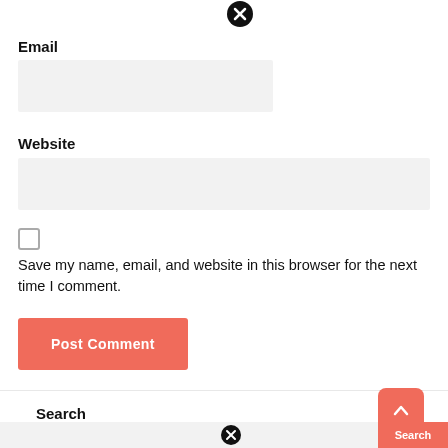[Figure (other): Close/clear icon (black circle with X) for a form field]
Email
[Figure (other): Email input field (light gray background)]
Website
[Figure (other): Website input field (light gray background, full width)]
[Figure (other): Unchecked checkbox]
Save my name, email, and website in this browser for the next time I comment.
[Figure (other): Post Comment button (salmon/coral red background, white text)]
Search
[Figure (other): Scroll to top button (salmon/coral red rounded square with upward arrow icon)]
[Figure (other): Search input field with close icon and Search button]